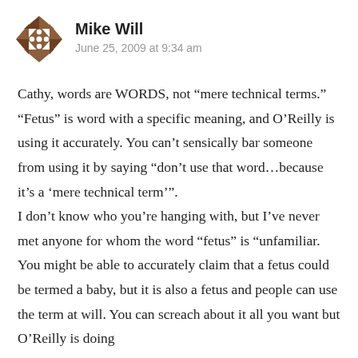[Figure (illustration): Decorative avatar icon with geometric diamond and triangle pattern in brown/dark red color]
Mike Will
June 25, 2009 at 9:34 am
Cathy, words are WORDS, not “mere technical terms.” “Fetus” is word with a specific meaning, and O’Reilly is using it accurately. You can’t sensically bar someone from using it by saying “don’t use that word…because it’s a ‘mere technical term’”.
I don’t know who you’re hanging with, but I’ve never met anyone for whom the word “fetus” is “unfamiliar. You might be able to accurately claim that a fetus could be termed a baby, but it is also a fetus and people can use the term at will. You can screach about it all you want but O’Reilly is doing